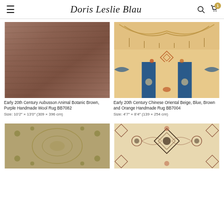Doris Leslie Blau
[Figure (photo): Brown wood-grain textured Aubusson rug product image]
Early 20th Century Aubusson Animal Botanic Brown, Purple Handmade Wool Rug BB7082
Size: 10'2" × 13'0" (309 × 396 cm)
[Figure (photo): Chinese Oriental rug with beige background, blue border with floral motifs, orange and brown accents]
Early 20th Century Chinese Oriental Beige, Blue, Brown and Orange Handmade Rug BB7004
Size: 4'7" × 8'4" (139 × 254 cm)
[Figure (photo): Antique rug with beige/green tones and intricate medallion pattern]
[Figure (photo): Oriental rug with cream background and geometric/floral dark medallion pattern]